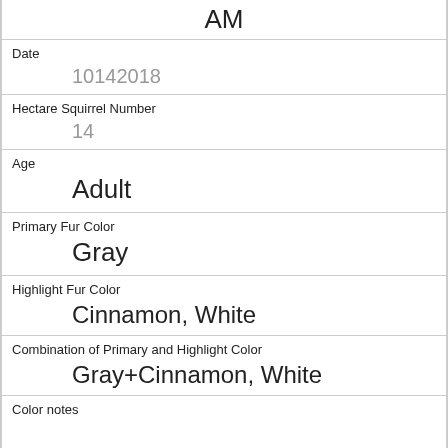AM
Date
10142018
Hectare Squirrel Number
14
Age
Adult
Primary Fur Color
Gray
Highlight Fur Color
Cinnamon, White
Combination of Primary and Highlight Color
Gray+Cinnamon, White
Color notes
Location
Above Ground Sighter Measurement
Specific Location